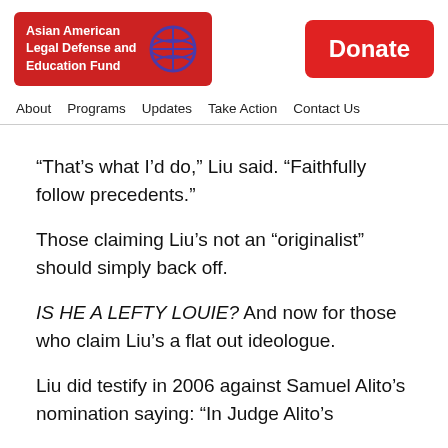[Figure (logo): Asian American Legal Defense and Education Fund logo with red background and AALDEF globe icon]
[Figure (other): Red Donate button]
About   Programs   Updates   Take Action   Contact Us
“That’s what I’d do,” Liu said. “Faithfully follow precedents.”
Those claiming Liu’s not an “originalist” should simply back off.
IS HE A LEFTY LOUIE? And now for those who claim Liu’s a flat out ideologue.
Liu did testify in 2006 against Samuel Alito’s nomination saying: “In Judge Alito’s